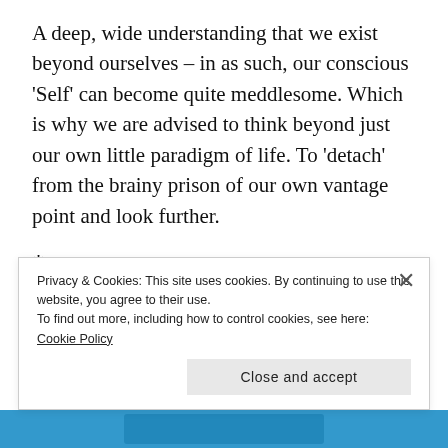A deep, wide understanding that we exist beyond ourselves – in as such, our conscious 'Self' can become quite meddlesome. Which is why we are advised to think beyond just our own little paradigm of life. To 'detach' from the brainy prison of our own vantage point and look further.
*
My honorary grandfather Mel wrote this lovely post which discusses the terms 'attachment' and 'aversion.'
Privacy & Cookies: This site uses cookies. By continuing to use this website, you agree to their use.
To find out more, including how to control cookies, see here: Cookie Policy
Close and accept